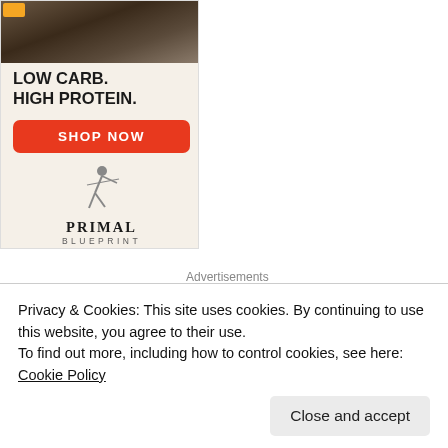[Figure (illustration): Primal Blueprint advertisement: beige background with dark food image at top, bold headline 'LOW CARB. HIGH PROTEIN.', red 'SHOP NOW' button, stylized athlete figure, and 'PRIMAL BLUEPRINT' logo text]
Advertisements
[Figure (logo): Jetpack advertisement: green background with white Jetpack logo (lightning bolt in circle) and 'Jetpack' text in white]
Privacy & Cookies: This site uses cookies. By continuing to use this website, you agree to their use.
To find out more, including how to control cookies, see here: Cookie Policy
Close and accept